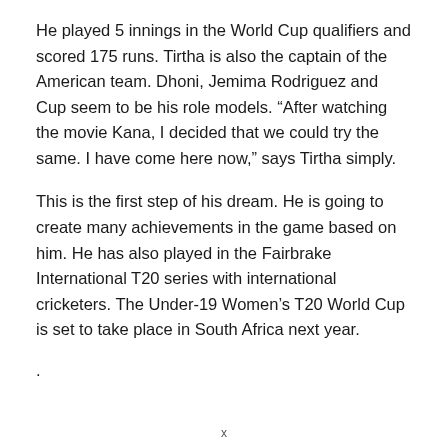He played 5 innings in the World Cup qualifiers and scored 175 runs. Tirtha is also the captain of the American team. Dhoni, Jemima Rodriguez and Cup seem to be his role models. “After watching the movie Kana, I decided that we could try the same. I have come here now,” says Tirtha simply.
This is the first step of his dream. He is going to create many achievements in the game based on him. He has also played in the Fairbrake International T20 series with international cricketers. The Under-19 Women’s T20 World Cup is set to take place in South Africa next year.
.
x